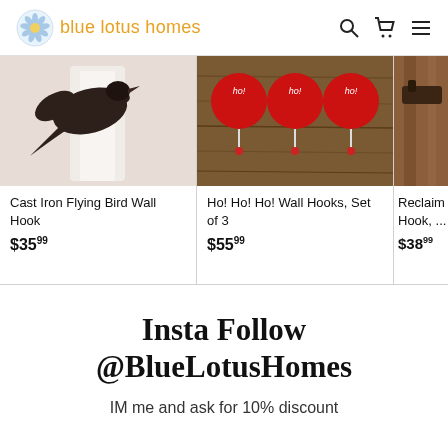blue lotus homes
[Figure (photo): Cast iron flying bird wall hook product image]
Cast Iron Flying Bird Wall Hook
$35.99
[Figure (photo): Ho! Ho! Ho! Wall hooks set of 3 product image - red round ornament hooks on wood]
Ho! Ho! Ho! Wall Hooks, Set of 3
$55.99
[Figure (photo): Reclaimed wood hook product image, partially visible]
Reclaim... Hook, ...
$38.99
Insta Follow @BlueLotusHomes
IM me and ask for 10% discount